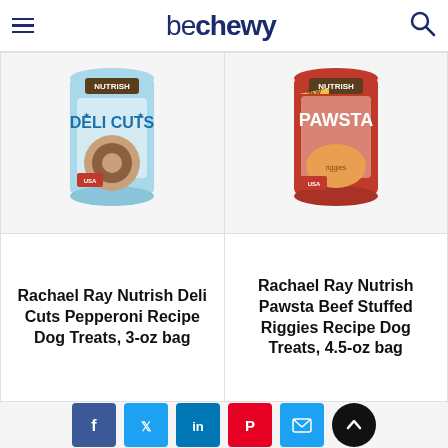be chewy
[Figure (photo): Rachael Ray Nutrish Deli Cuts Pepperoni Recipe Dog Treats bag, 3-oz, light blue packaging]
Rachael Ray Nutrish Deli Cuts Pepperoni Recipe Dog Treats, 3-oz bag
[Figure (photo): Rachael Ray Nutrish Pawsta Beef Stuffed Riggies Recipe Dog Treats bag, 4.5-oz, red packaging]
Rachael Ray Nutrish Pawsta Beef Stuffed Riggies Recipe Dog Treats, 4.5-oz bag
Social share buttons: Facebook, Twitter, LinkedIn, Pinterest, Email, Scroll to top